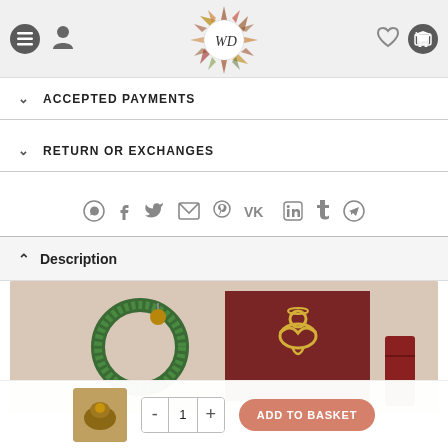[Figure (screenshot): Website header with hamburger menu, user icon, decorative floral WD logo in center, heart icon and shopping cart on right, on light gray background]
ACCEPTED PAYMENTS
RETURN OR EXCHANGES
[Figure (infographic): Row of social media sharing icons: WhatsApp, Facebook, Twitter, Email, Pinterest, VK, LinkedIn, Tumblr, Telegram]
Description
[Figure (photo): Product photo showing Christmas decorations: a green wreath with gold ornaments on the left, a dark red canvas with a gold angel design in the center, and part of a red vase on the right, against a beige wall]
[Figure (photo): Small thumbnail of a squirrel or animal image in the add to basket bar]
- 1 +
ADD TO BASKET